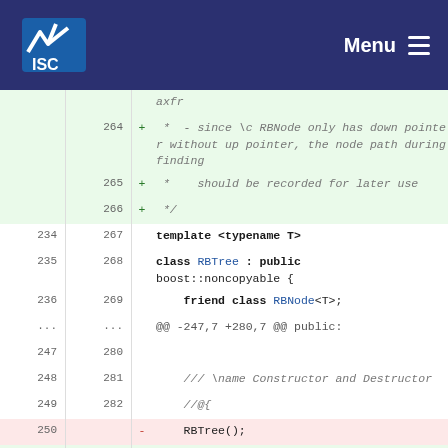ISC | Menu
[Figure (screenshot): Code diff view showing changes to RBTree class. Added lines 264-266 show comments about RBNode pointer path recording. Lines 234-252 and 267-285 show template class definition with explicit constructor change.]